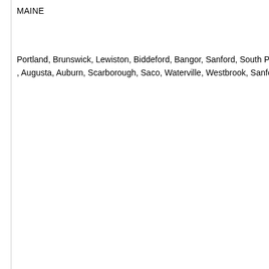MAINE
Portland, Brunswick, Lewiston, Biddeford, Bangor, Sanford, South Portland, Augusta, Auburn, Scarborough, Saco, Waterville, Westbrook, Sanford, R